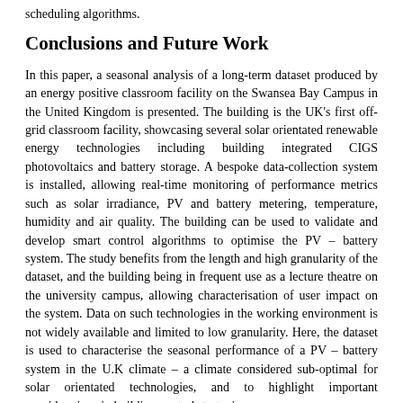scheduling algorithms.
Conclusions and Future Work
In this paper, a seasonal analysis of a long-term dataset produced by an energy positive classroom facility on the Swansea Bay Campus in the United Kingdom is presented. The building is the UK's first off-grid classroom facility, showcasing several solar orientated renewable energy technologies including building integrated CIGS photovoltaics and battery storage. A bespoke data-collection system is installed, allowing real-time monitoring of performance metrics such as solar irradiance, PV and battery metering, temperature, humidity and air quality. The building can be used to validate and develop smart control algorithms to optimise the PV – battery system. The study benefits from the length and high granularity of the dataset, and the building being in frequent use as a lecture theatre on the university campus, allowing characterisation of user impact on the system. Data on such technologies in the working environment is not widely available and limited to low granularity. Here, the dataset is used to characterise the seasonal performance of a PV – battery system in the U.K climate – a climate considered sub-optimal for solar orientated technologies, and to highlight important considerations in building control strategies.